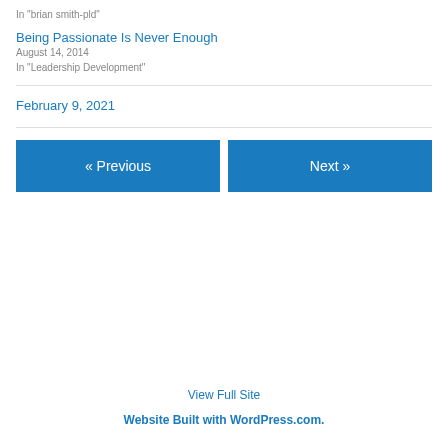In "brian smith-pld"
Being Passionate Is Never Enough
August 14, 2014
In "Leadership Development"
February 9, 2021
« Previous
Next »
View Full Site
Website Built with WordPress.com.